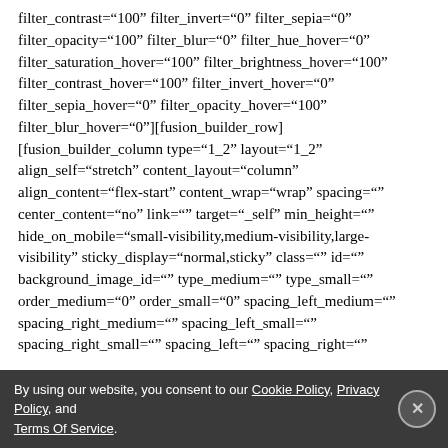filter_contrast="100" filter_invert="0" filter_sepia="0" filter_opacity="100" filter_blur="0" filter_hue_hover="0" filter_saturation_hover="100" filter_brightness_hover="100" filter_contrast_hover="100" filter_invert_hover="0" filter_sepia_hover="0" filter_opacity_hover="100" filter_blur_hover="0"][fusion_builder_row] [fusion_builder_column type="1_2" layout="1_2" align_self="stretch" content_layout="column" align_content="flex-start" content_wrap="wrap" spacing="" center_content="no" link="" target="_self" min_height="" hide_on_mobile="small-visibility,medium-visibility,large-visibility" sticky_display="normal,sticky" class="" id="" background_image_id="" type_medium="" type_small="" order_medium="0" order_small="0" spacing_left_medium="" spacing_right_medium="" spacing_left_small="" spacing_right_small="" spacing_left="" spacing_right="" margin_top_medium="" margin_bottom_medium="" margin_top_small="" margin_bottom_small="" margin_top="" margin_bottom="" padding_top_medium="" padding_right_medium="" padding_bottom_medium="" padding_left_medium="" padding_top_small="" padding_right_small="" padding_bottom_small=""
By using our website, you consent to our Cookie Policy, Privacy Policy, and Terms Of Service.